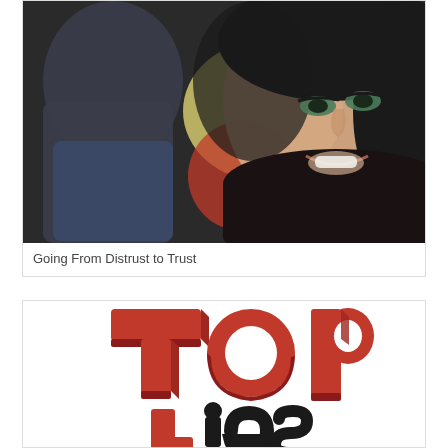[Figure (photo): Two people close together; a smiling woman with dark hair looking sideways, and a man facing away, with blurred red/yellow bokeh background]
Going From Distrust to Trust
[Figure (illustration): 3D red block letters spelling 'TOP' with partial letters below (beginning of 'Lies' or similar), orange-red 3D typography on white background]